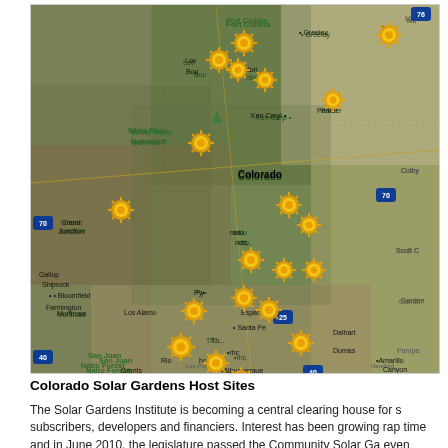[Figure (map): Satellite map of Colorado and surrounding states (New Mexico, Kansas, Utah, Wyoming) showing multiple solar garden host site locations marked with golden sunflower/sun icons. Map includes city labels such as Fort Collins, Greeley, Grand Junction, Montrose, Durango, Farmington, Albuquerque, Santa Fe, Pueblo, and interstate highway markers (I-70, I-25, I-40). The sun icons are clustered primarily along the Front Range of Colorado near Denver/Boulder, with additional sites near Pueblo, Colorado Springs, and New Mexico.]
Colorado Solar Gardens Host Sites
The Solar Gardens Institute is becoming a central clearing house for subscribers, developers and financiers. Interest has been growing rapidly over time and in June 2010, the legislature passed the Community Solar Gardens bill creating even more demand. The map above shows some of the locations whe...